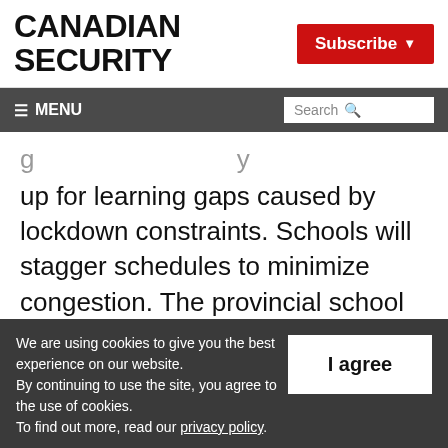CANADIAN SECURITY
Subscribe
≡ MENU | Search
up for learning gaps caused by lockdown constraints. Schools will stagger schedules to minimize congestion. The provincial school food program will be expanded next year in keeping with public health precautions.
We are using cookies to give you the best experience on our website. By continuing to use the site, you agree to the use of cookies. To find out more, read our privacy policy.
I agree